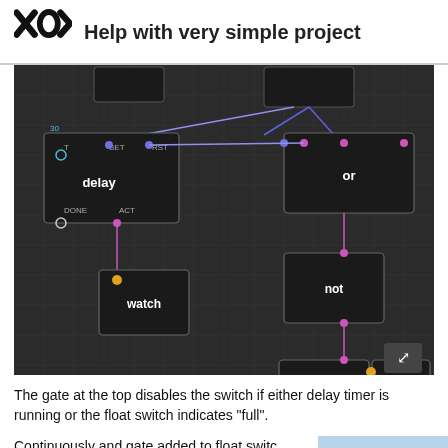Help with very simple project
[Figure (screenshot): XOD visual programming environment screenshot showing a node graph with delay, or, not, defer, watch, and enable nodes connected by pink and blue wires on a dark background grid.]
The gate at the top disables the switch if either delay timer is running or the float switch indicates “full”.
Continuously and gate added to float switch else may happen to turn on the fill valve, it
9 / 13